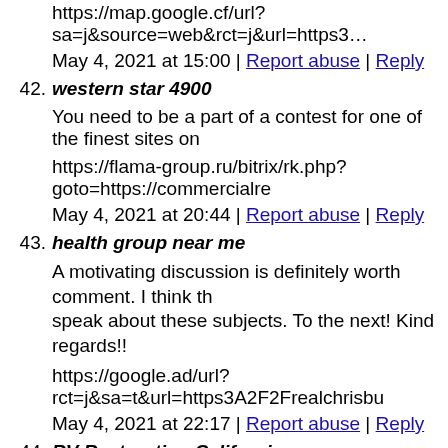https://map.google.cf/url?sa=j&source=web&rct=j&url=https3…
May 4, 2021 at 15:00 | Report abuse | Reply
42. western star 4900
You need to be a part of a contest for one of the finest sites on
https://flama-group.ru/bitrix/rk.php?goto=https://commercialre
May 4, 2021 at 20:44 | Report abuse | Reply
43. health group near me
A motivating discussion is definitely worth comment. I think that you should speak about these subjects. To the next! Kind regards!!
https://google.ad/url?rct=j&sa=t&url=https3A2F2Frealchrisbu
May 4, 2021 at 22:17 | Report abuse | Reply
44. RV Restoration California
Very good article. I definitely appreciate this website. Keep wr
http://images.google.iq/url?rct=j&sa=t&url=https://ocrvluxury
May 5, 2021 at 05:37 | Report abuse | Reply
45. aika private server files download